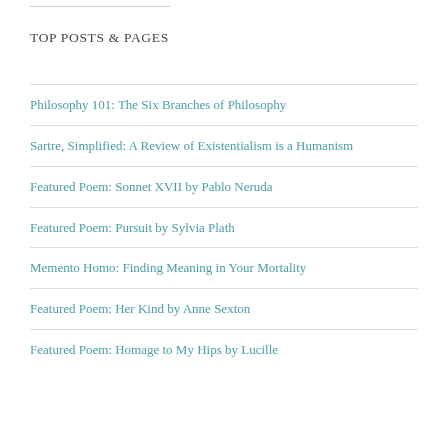Top Posts & Pages
Philosophy 101: The Six Branches of Philosophy
Sartre, Simplified: A Review of Existentialism is a Humanism
Featured Poem: Sonnet XVII by Pablo Neruda
Featured Poem: Pursuit by Sylvia Plath
Memento Homo: Finding Meaning in Your Mortality
Featured Poem: Her Kind by Anne Sexton
Featured Poem: Homage to My Hips by Lucille